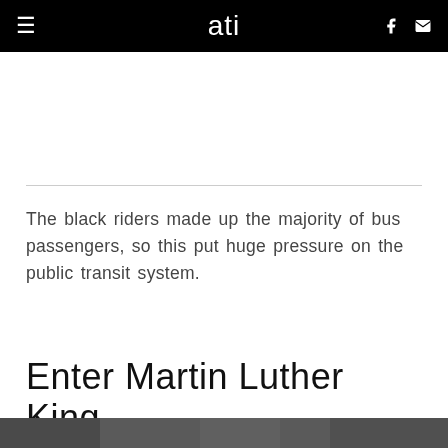ati
The black riders made up the majority of bus passengers, so this put huge pressure on the public transit system.
Enter Martin Luther King
[Figure (photo): Black and white photograph visible at the bottom of the page, partially cropped]